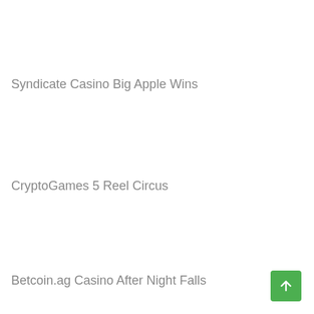Syndicate Casino Big Apple Wins
CryptoGames 5 Reel Circus
Betcoin.ag Casino After Night Falls
OneHash Syndicate